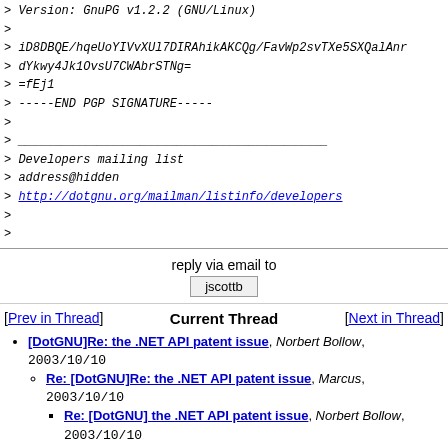> Version: GnuPG v1.2.2 (GNU/Linux)
>
> iD8DBQE/hqeUoYIVvXUl7DIRAhikAKCQg/FavWp2svTXe5SXQalAnr...
> dYkwy4Jk1OvsU7CWAbrSTNg=
> =fEj1
> -----END PGP SIGNATURE-----
>
> ___________________________________________
> Developers mailing list
> address@hidden
> http://dotgnu.org/mailman/listinfo/developers
>
>
reply via email to
jscottb
[Prev in Thread]  Current Thread  [Next in Thread]
[DotGNU]Re: the .NET API patent issue, Norbert Bollow, 2003/10/10
Re: [DotGNU]Re: the .NET API patent issue, Marcus, 2003/10/10
Re: [DotGNU] the .NET API patent issue, Norbert Bollow, 2003/10/10
Re: [DotGNU] the .NET API patent issue, jscottb <=